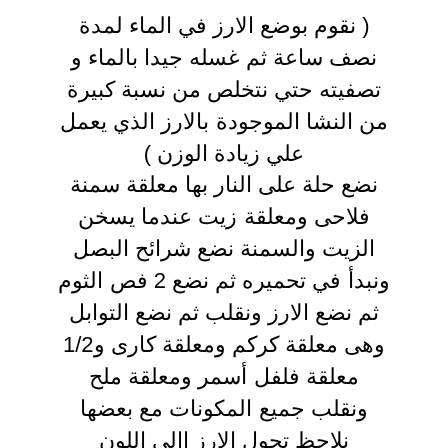( نقوم بوضع الارز في الماء لمدة نصف ساعة ثم غسله جيدا بالماء و تصفيته حتي نتخلص من نسبة كبيرة من النشا الموجودة بالارز الذي يعمل علي زيادة الوزن ) نضع حلة على النار بها معلقة سمنة فلاحى ومعلقة زيت عندما يسخن الزيت والسمنة نضع شرائح البصل ونبدأ في تحميره ثم نضع 2 فص الثوم ثم نضع الارز ونقلب ثم نضع التوابل وهى معلقة كركم ومعلقة كارى و1/2 معلقة فلفل أسمر ومعلقة ملح ونقلب جميع المكونات مع بعضها نلاحظ تحول الارز إالى اللون الاصفر ثم نضع الماء ليغطي الارز